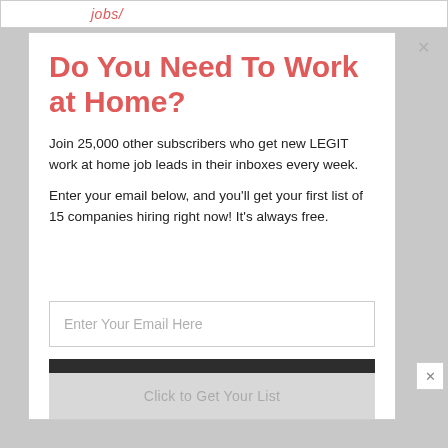jobs/
Do You Need To Work at Home?
Join 25,000 other subscribers who get new LEGIT work at home job leads in their inboxes every week.
Enter your email below, and you'll get your first list of 15 companies hiring right now! It's always free.
Enter Your Email Here
Click to Get Your List